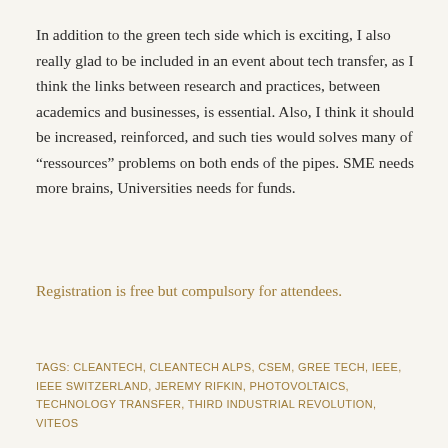In addition to the green tech side which is exciting, I also really glad to be included in an event about tech transfer, as I think the links between research and practices, between academics and businesses, is essential. Also, I think it should be increased, reinforced, and such ties would solves many of “ressources” problems on both ends of the pipes. SME needs more brains, Universities needs for funds.
Registration is free but compulsory for attendees.
TAGS: CLEANTECH, CLEANTECH ALPS, CSEM, GREE TECH, IEEE, IEEE SWITZERLAND, JEREMY RIFKIN, PHOTOVOLTAICS, TECHNOLOGY TRANSFER, THIRD INDUSTRIAL REVOLUTION, VITEOS